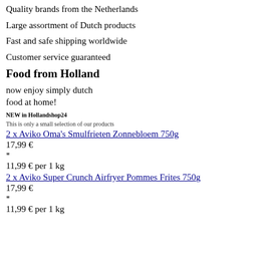Quality brands from the Netherlands
Large assortment of Dutch products
Fast and safe shipping worldwide
Customer service guaranteed
Food from Holland
now enjoy simply dutch
food at home!
NEW in Hollandshop24
This is only a small selection of our products
2 x Aviko Oma's Smulfrieten Zonnebloem 750g
17,99 €
*
11,99 € per 1 kg
2 x Aviko Super Crunch Airfryer Pommes Frites 750g
17,99 €
*
11,99 € per 1 kg